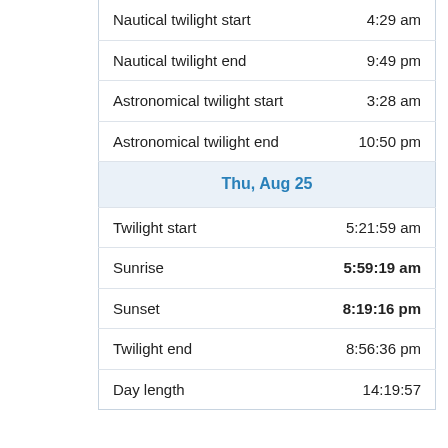| Event | Time |
| --- | --- |
| Nautical twilight start | 4:29 am |
| Nautical twilight end | 9:49 pm |
| Astronomical twilight start | 3:28 am |
| Astronomical twilight end | 10:50 pm |
| Thu, Aug 25 |  |
| Twilight start | 5:21:59 am |
| Sunrise | 5:59:19 am |
| Sunset | 8:19:16 pm |
| Twilight end | 8:56:36 pm |
| Day length | 14:19:57 |